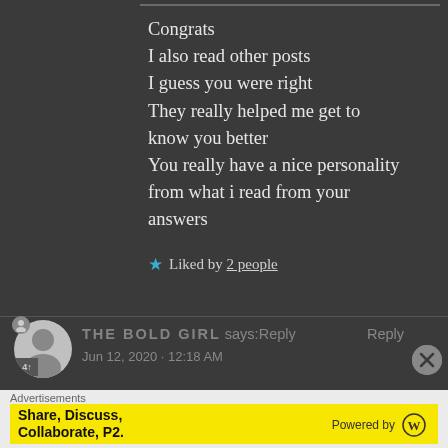Congrats
I also read other posts
I guess you were right
They really helped me get to know you better
You really have a nice personality from what i read from your answers
★ Liked by 2 people
THE BOLD GIRL says: Reply
Advertisements
Share, Discuss, Collaborate, P2. Powered by [WordPress logo]